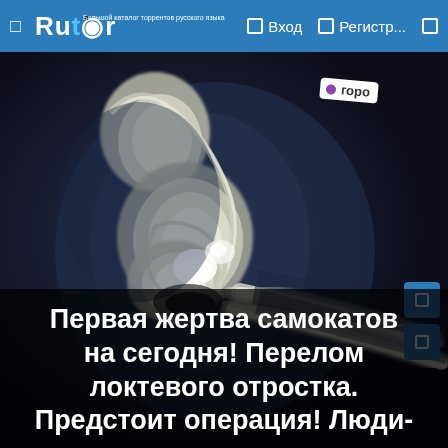Rutor | Вход | Регистр...
[Figure (photo): X-ray image of a human elbow joint showing a fracture of the olecranon (elbow process). The image is a lateral view showing the bones of the arm. A small tag labeled 'горо' with a purple dot is visible in the upper right area of the x-ray.]
Первая жертва самокатов на сегодня! Перелом локтевого отростка. Предстоит операция! Люди-